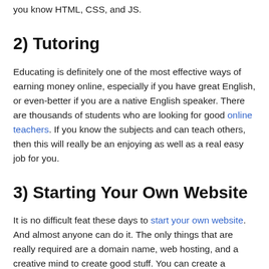you know HTML, CSS, and JS.
2) Tutoring
Educating is definitely one of the most effective ways of earning money online, especially if you have great English, or even-better if you are a native English speaker. There are thousands of students who are looking for good online teachers. If you know the subjects and can teach others, then this will really be an enjoying as well as a real easy job for you.
3) Starting Your Own Website
It is no difficult feat these days to start your own website. And almost anyone can do it. The only things that are really required are a domain name, web hosting, and a creative mind to create good stuff. You can create a website regarding any niche you want. Perhaps, you want to write about cats or pet food, or